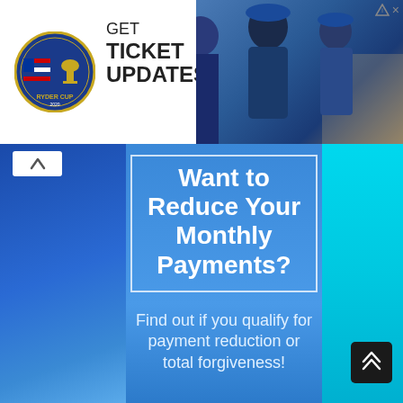[Figure (screenshot): Top advertisement banner for Ryder Cup showing logo on left with text 'GET TICKET UPDATES' and sports photo on the right with players in blue uniforms and a colosseum in background]
[Figure (infographic): Blue gradient advertisement asking 'Want to Reduce Your Monthly Payments?' with a bordered box, and below 'Find out if you qualify for payment reduction or total forgiveness!']
Want to Reduce Your Monthly Payments?
Find out if you qualify for payment reduction or total forgiveness!